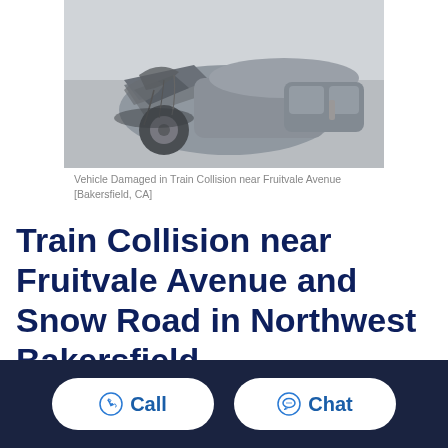[Figure (photo): Severely damaged vehicle after a train collision near Fruitvale Avenue, Bakersfield, CA. The front of the car is crushed and crumpled, shown in grayscale.]
Vehicle Damaged in Train Collision near Fruitvale Avenue [Bakersfield, CA]
Train Collision near Fruitvale Avenue and Snow Road in Northwest Bakersfield
Call
Chat